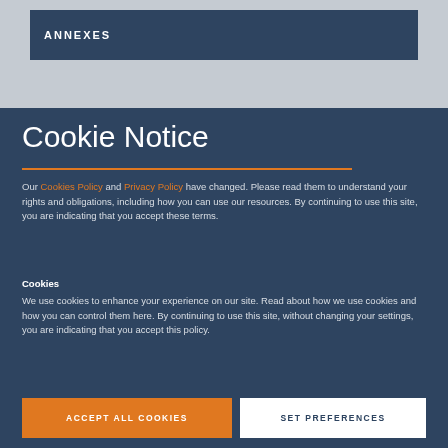ANNEXES
Cookie Notice
Our Cookies Policy and Privacy Policy have changed. Please read them to understand your rights and obligations, including how you can use our resources. By continuing to use this site, you are indicating that you accept these terms.
Cookies
We use cookies to enhance your experience on our site. Read about how we use cookies and how you can control them here. By continuing to use this site, without changing your settings, you are indicating that you accept this policy.
ACCEPT ALL COOKIES
SET PREFERENCES